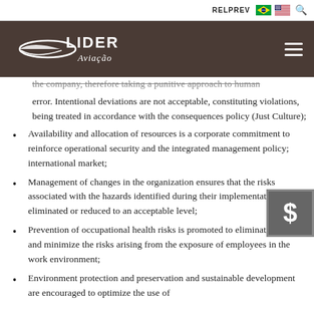RELPREV
[Figure (logo): Lider Aviacao logo - white text and arrow graphic on dark brown background]
the company, therefore taking a punitive approach to human error. Intentional deviations are not acceptable, constituting violations, being treated in accordance with the consequences policy (Just Culture);
Availability and allocation of resources is a corporate commitment to reinforce operational security and the integrated management policy; international market;
Management of changes in the organization ensures that the risks associated with the hazards identified during their implementation are eliminated or reduced to an acceptable level;
Prevention of occupational health risks is promoted to eliminate hazards and minimize the risks arising from the exposure of employees in the work environment;
Environment protection and preservation and sustainable development are encouraged to optimize the use of